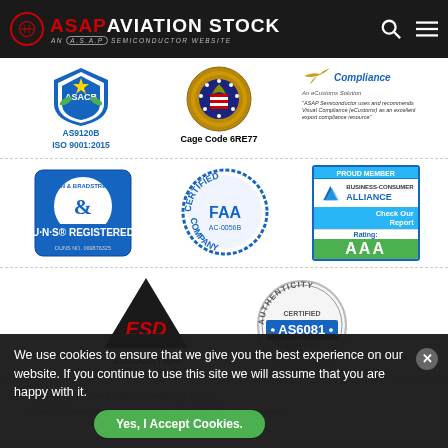[Figure (logo): ASAP Aviation Stock logo with red ASAP text and AN A.S.A.P SEMICONDUCTOR WEBSITE subtitle on dark background, with search and menu icons]
[Figure (logo): ASACB AS9120B ISO 9001:2015 certification badge]
[Figure (logo): Cage Code 6RE77 US government seal badge]
[Figure (logo): Visual Compliance eCustoms Solution badge with ASAP Semiconductor endorsement text]
[Figure (logo): Dun & Bradstreet D-U-N-S Registered badge with DUNS NO. 069876325]
[Figure (logo): FAA AC-00568 Certified Company circular badge]
[Figure (logo): Business Consumer Alliance Proud Member Check Our Report Rating AAA badge]
[Figure (logo): ESD Association ANSI/ESD-S20.20 badge with triangle logo]
[Figure (logo): Authenticity Certified AS6081 Supplier Assured circular badge]
We use cookies to ensure that we give you the best experience on our website. If you continue to use this site we will assume that you are happy with it.
All Orders are Fulfilled in the U.S.A.
All Shipments must comply with U.S.A export laws.
Yes, I Accept Cookies.